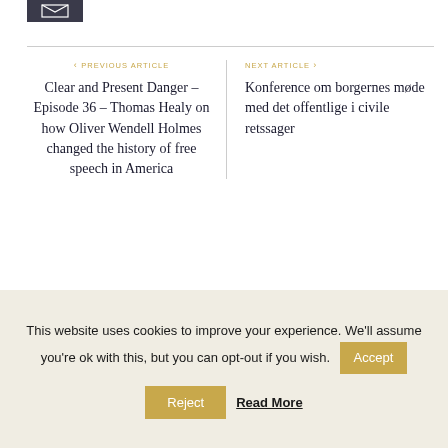[Figure (other): Dark icon/button with envelope symbol at top left]
< PREVIOUS ARTICLE
Clear and Present Danger – Episode 36 – Thomas Healy on how Oliver Wendell Holmes changed the history of free speech in America
NEXT ARTICLE >
Konference om borgernes møde med det offentlige i civile retssager
ABOUT AUTHOR
This website uses cookies to improve your experience. We'll assume you're ok with this, but you can opt-out if you wish.
Accept
Reject
Read More